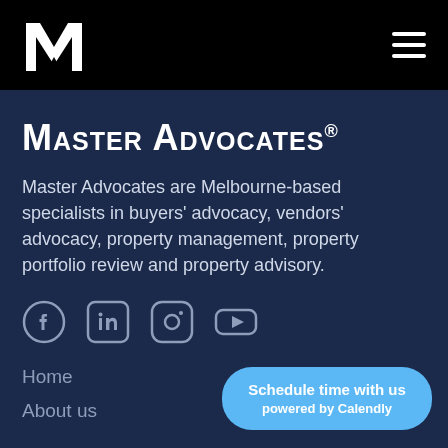[Figure (logo): Master Advocates stylized M logo in white on black background, top left navigation bar]
[Figure (illustration): Hamburger menu icon (three horizontal white lines) on black background, top right navigation bar]
Master Advocates®
Master Advocates are Melbourne-based specialists in buyers' advocacy, vendors' advocacy, property management, property portfolio review and property advisory.
[Figure (illustration): Social media icons row: Facebook, LinkedIn, Instagram, YouTube — all white on dark navy background]
Home
About us
Schedule time with us
powered by Calendly